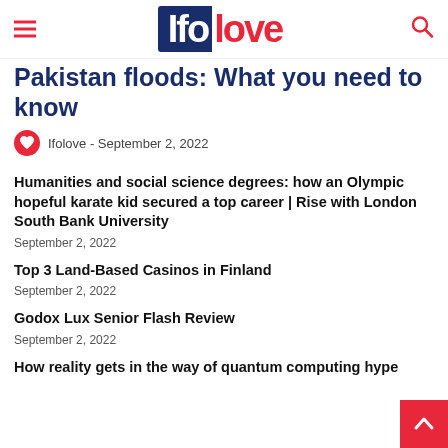Ifolove
Pakistan floods: What you need to know
Ifolove - September 2, 2022
Humanities and social science degrees: how an Olympic hopeful karate kid secured a top career | Rise with London South Bank University
September 2, 2022
Top 3 Land-Based Casinos in Finland
September 2, 2022
Godox Lux Senior Flash Review
September 2, 2022
How reality gets in the way of quantum computing hype